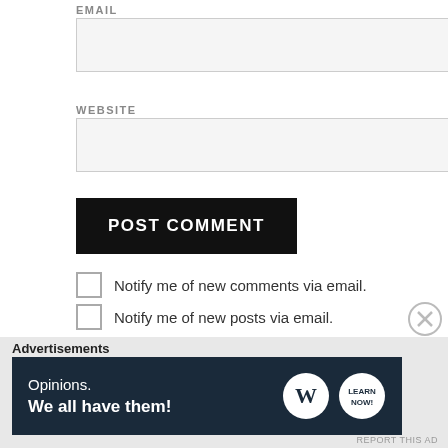EMAIL
WEBSITE
POST COMMENT
Notify me of new comments via email.
Notify me of new posts via email.
Advertisements
[Figure (infographic): WordPress ad banner: 'Opinions. We all have them!' with WordPress logo and learn now button on dark navy background]